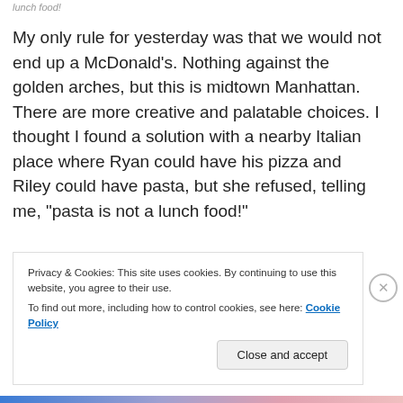My only rule for yesterday was that we would not end up a McDonald’s. Nothing against the golden arches, but this is midtown Manhattan. There are more creative and palatable choices. I thought I found a solution with a nearby Italian place where Ryan could have his pizza and Riley could have pasta, but she refused, telling me, “pasta is not a lunch food!”
Privacy & Cookies: This site uses cookies. By continuing to use this website, you agree to their use.
To find out more, including how to control cookies, see here: Cookie Policy
Close and accept